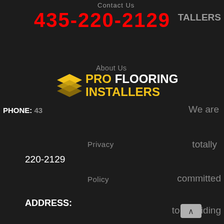Contact Us
435-220-2129
INSTALLERS
[Figure (logo): Pro Flooring Installers logo with stacked layers icon in gold/yellow]
About Us
PHONE: 435
We are
Privacy
totally
220-2129
Policy
committed
ADDRESS:
Get A Quote
to providing
Cedar City,
our
UT
Locations
customers
HOURS:
with the
8AM – 5PM
Careers
finest
M-F
flooring